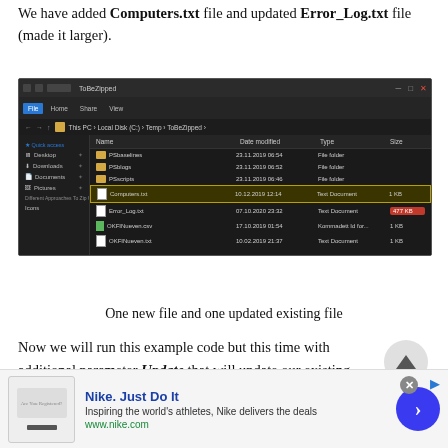We have added Computers.txt file and updated Error_Log.txt file (made it larger).
[Figure (screenshot): Windows File Explorer screenshot showing ToBeZipped folder with files including Computers.txt (highlighted yellow, 1 KB), Error_Log.txt (highlighted red, 477 KB), and other files]
One new file and one updated existing file
Now we will run this example code but this time with additional parameter Update that will update our existing archive compressed zip file (UpdateZipped.zip)
[Figure (screenshot): Nike advertisement banner showing Nike Just Do It text, description, www.nike.com URL, and a blue chevron button]